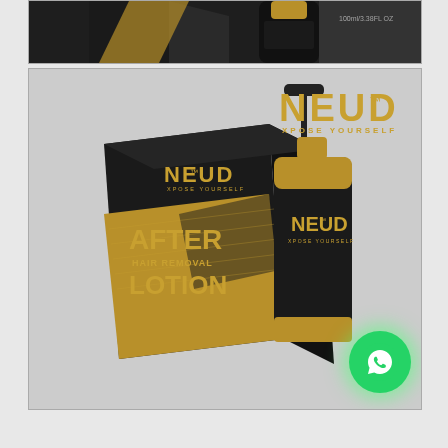[Figure (photo): Top portion showing NEUD product packaging and bottle, partially cropped, dark background with gold accents]
[Figure (photo): NEUD After Hair Removal Lotion product shot showing black and gold box packaging alongside black pump bottle with NEUD branding and tagline XPOSE YOURSELF, with NEUD gold logo top right and WhatsApp chat button bottom right]